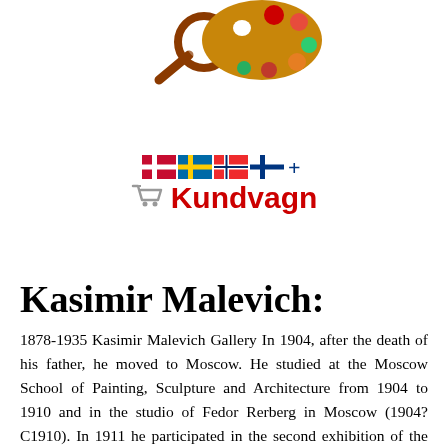[Figure (illustration): Colorful artist palette with paint and a magnifying glass icon, website logo/header image]
[Figure (logo): Kundvagn shopping cart logo with Nordic country flags (Denmark, Sweden, Norway, Finland) and shopping cart icon with red text 'Kundvagn']
Kasimir Malevich:
1878-1935 Kasimir Malevich Gallery In 1904, after the death of his father, he moved to Moscow. He studied at the Moscow School of Painting, Sculpture and Architecture from 1904 to 1910 and in the studio of Fedor Rerberg in Moscow (1904?C1910). In 1911 he participated in the second exhibition of the group Soyuz Molodyozhi (Union of Youth) in St. Petersburg,